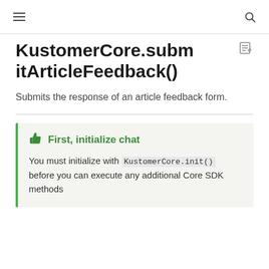≡   🔍
KustomerCore.submitArticleFeedback()
Submits the response of an article feedback form.
First, initialize chat
You must initialize with KustomerCore.init() before you can execute any additional Core SDK methods